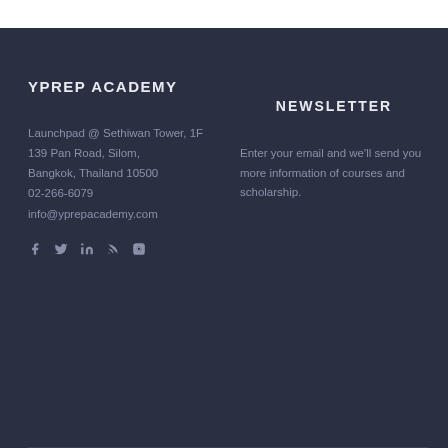YPREP ACADEMY
Launchpad @ Sethiwan Tower, 1F
139 Pan Road, Silom,
Bangkok, Thailand 10500
02-266-6079
info@yprepacademy.com
[Figure (other): Social media icons: Facebook, Twitter, LinkedIn, RSS, Instagram]
NEWSLETTER
Enter your email and we'll send you more information of courses and scholarship.